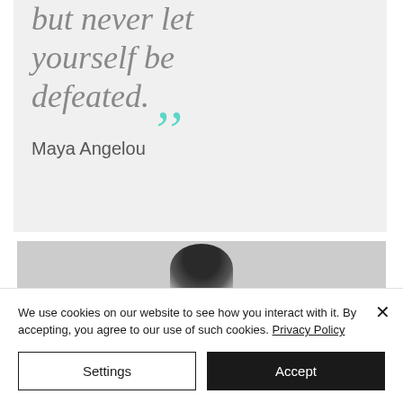[Figure (illustration): Quote card with light gray background showing italic text 'but never let yourself be defeated.' with large teal closing quotation marks, and attribution 'Maya Angelou' below]
[Figure (photo): Partial photo strip showing top of a person's head with dark hair against a gray background]
We use cookies on our website to see how you interact with it. By accepting, you agree to our use of such cookies. Privacy Policy
Settings
Accept